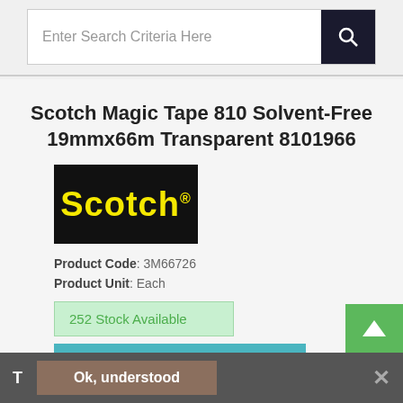Enter Search Criteria Here
Scotch Magic Tape 810 Solvent-Free 19mmx66m Transparent 8101966
[Figure (logo): Scotch brand logo — yellow text on black background]
Product Code: 3M66726
Product Unit: Each
252 Stock Available
Lead Time 1 Working Day/s
Matte finish, clear adhesive tape for virtually invisible
Ok, understood